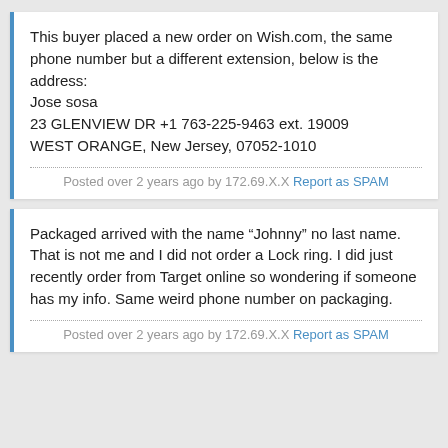This buyer placed a new order on Wish.com, the same phone number but a different extension, below is the address:
Jose sosa
23 GLENVIEW DR +1 763-225-9463 ext. 19009
WEST ORANGE, New Jersey, 07052-1010
Posted over 2 years ago by 172.69.X.X Report as SPAM
Packaged arrived with the name “Johnny” no last name. That is not me and I did not order a Lock ring. I did just recently order from Target online so wondering if someone has my info. Same weird phone number on packaging.
Posted over 2 years ago by 172.69.X.X Report as SPAM